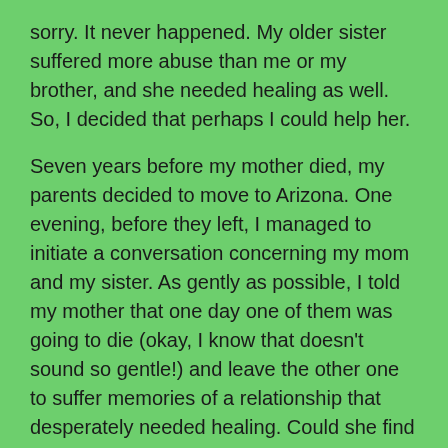sorry. It never happened. My older sister suffered more abuse than me or my brother, and she needed healing as well. So, I decided that perhaps I could help her.
Seven years before my mother died, my parents decided to move to Arizona. One evening, before they left, I managed to initiate a conversation concerning my mom and my sister. As gently as possible, I told my mother that one day one of them was going to die (okay, I know that doesn't sound so gentle!) and leave the other one to suffer memories of a relationship that desperately needed healing. Could she find it in her heart to talk to my sister and mend that relationship; tell her she loved her and that she was sorry? I recognized the empty expression staring back at me. “No” – that’s all she said. After they left I cried because I knew that I would never hear those words either.